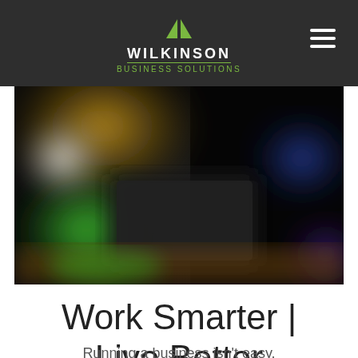[Figure (logo): Wilkinson Business Solutions logo with two green triangles and company name on dark background header]
[Figure (photo): Blurred photo of a laptop on a wooden surface with colorful bokeh lights in the background including green, blue, and gold tones]
Work Smarter | Live Better
Running a business isn't easy.